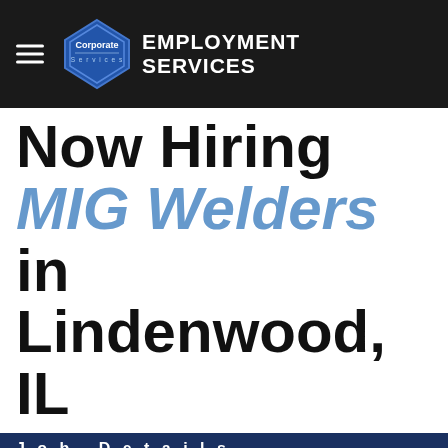Corporate Services EMPLOYMENT SERVICES
Now Hiring MIG Welders in Lindenwood, IL
Job Details
Pay: up to $20.00/hour
Shift: 1st shift